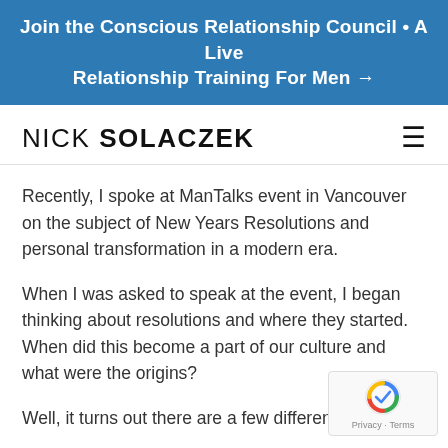Join the Conscious Relationship Council • A Live Relationship Training For Men →
NICK SOLACZEK
Recently, I spoke at ManTalks event in Vancouver on the subject of New Years Resolutions and personal transformation in a modern era.
When I was asked to speak at the event, I began thinking about resolutions and where they started. When did this become a part of our culture and what were the origins?
Well, it turns out there are a few different